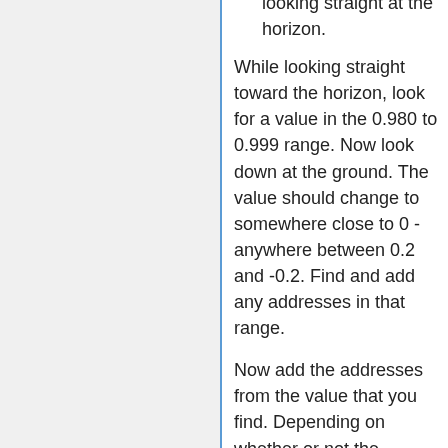looking straight at the horizon.
While looking straight toward the horizon, look for a value in the 0.980 to 0.999 range. Now look down at the ground. The value should change to somewhere close to 0 - anywhere between 0.2 and -0.2. Find and add any addresses in that range.
Now add the addresses from the value that you find. Depending on whether or not the coordinate system is left-handed, this could change. In the game that this guide used, the vector component that changed when looking up and down had an address of 05399038, and it was the last address of the vector.